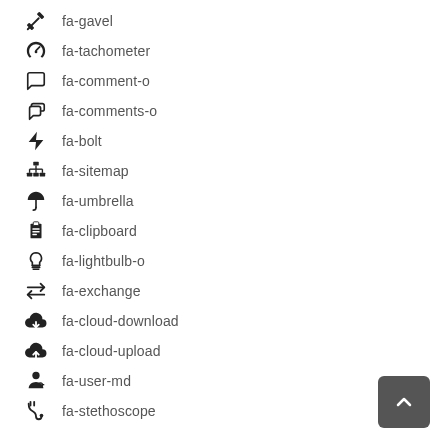fa-gavel
fa-tachometer
fa-comment-o
fa-comments-o
fa-bolt
fa-sitemap
fa-umbrella
fa-clipboard
fa-lightbulb-o
fa-exchange
fa-cloud-download
fa-cloud-upload
fa-user-md
fa-stethoscope